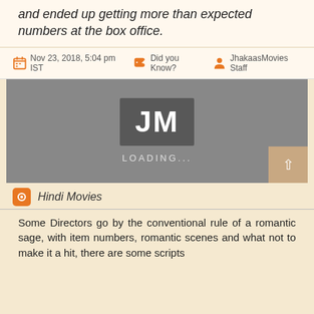and ended up getting more than expected numbers at the box office.
Nov 23, 2018, 5:04 pm IST   Did you Know?   JhakaasMovies Staff
[Figure (screenshot): Loading placeholder image with JM logo and LOADING... text on a grey background, with a scroll-to-top button in the bottom right corner.]
Hindi Movies
Some Directors go by the conventional rule of a romantic sage, with item numbers, romantic scenes and what not to make it a hit, there are some scripts